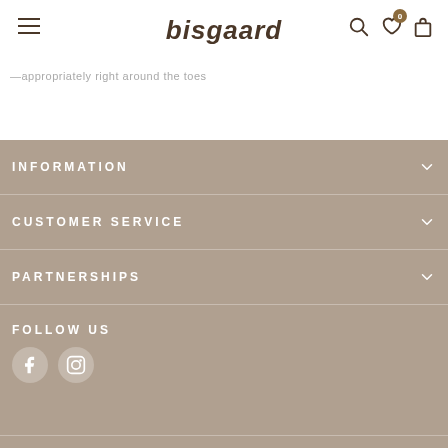bisgaard
appropriately right around the toes
INFORMATION
CUSTOMER SERVICE
PARTNERSHIPS
FOLLOW US
[Figure (logo): Facebook and Instagram social media icons (white circles)]